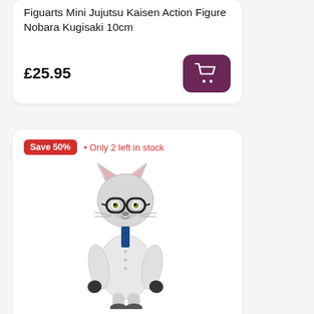Figuarts Mini Jujutsu Kaisen Action Figure Nobara Kugisaki 10cm
£25.95
[Figure (illustration): Purple rounded button with white shopping cart icon]
Save 50%
• Only 2 left in stock
[Figure (photo): Bandai Shokugan Animal Crossing Flocked Doll figure of Raymond, a cat character wearing glasses and a white shirt]
Bandai Shokugan Animal Crossing Flocked Doll Wave 2 Figure – Raymond